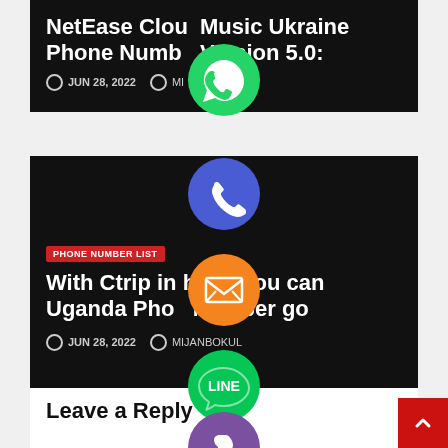NetEase Cloud Music Ukraine Phone Number Version 5.0:
JUN 28, 2022   MIJANBOKUL
PHONE NUMBER LIST
With Ctrip in hand, you can Uganda Phone Number go
JUN 28, 2022   MIJANBOKUL
Leave a Reply
[Figure (infographic): Social share floating buttons: WhatsApp (green), Phone (blue), Email (orange), LINE (green), Viber (purple), Close X (green)]